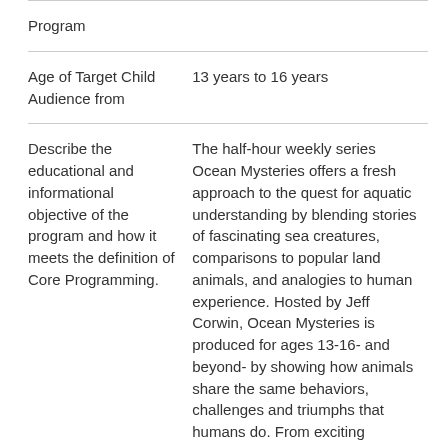| Program |  |
| Age of Target Child Audience from | 13 years to 16 years |
| Describe the educational and informational objective of the program and how it meets the definition of Core Programming. | The half-hour weekly series Ocean Mysteries offers a fresh approach to the quest for aquatic understanding by blending stories of fascinating sea creatures, comparisons to popular land animals, and analogies to human experience. Hosted by Jeff Corwin, Ocean Mysteries is produced for ages 13-16- and beyond- by showing how animals share the same behaviors, challenges and triumphs that humans do. From exciting rescues of abandoned |